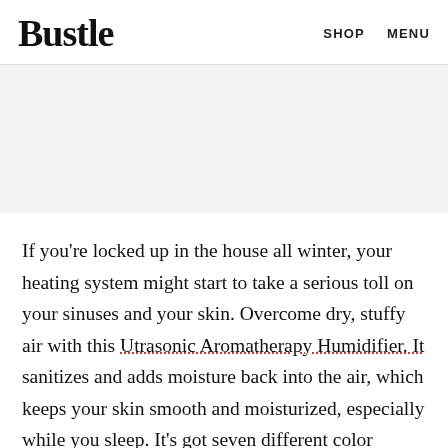Bustle  SHOP  MENU
[Figure (other): Advertisement banner placeholder, light gray background]
If you're locked up in the house all winter, your heating system might start to take a serious toll on your sinuses and your skin. Overcome dry, stuffy air with this Utrasonic Aromatherapy Humidifier. It sanitizes and adds moisture back into the air, which keeps your skin smooth and moisturized, especially while you sleep. It's got seven different color settings,